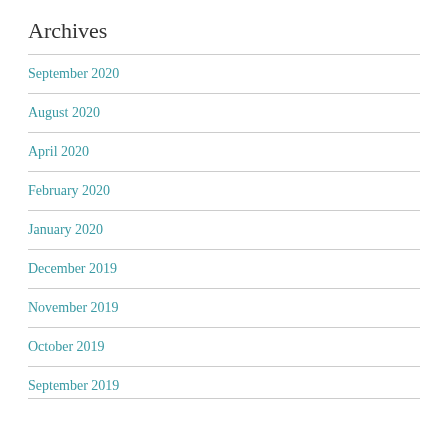Archives
September 2020
August 2020
April 2020
February 2020
January 2020
December 2019
November 2019
October 2019
September 2019